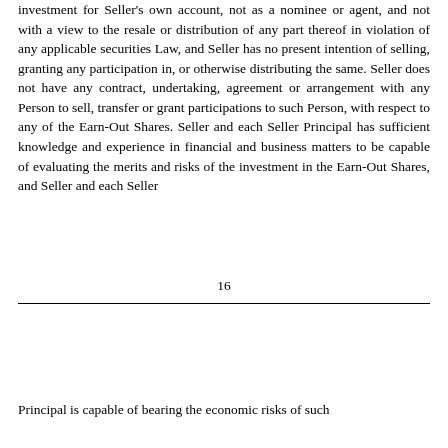investment for Seller's own account, not as a nominee or agent, and not with a view to the resale or distribution of any part thereof in violation of any applicable securities Law, and Seller has no present intention of selling, granting any participation in, or otherwise distributing the same. Seller does not have any contract, undertaking, agreement or arrangement with any Person to sell, transfer or grant participations to such Person, with respect to any of the Earn-Out Shares. Seller and each Seller Principal has sufficient knowledge and experience in financial and business matters to be capable of evaluating the merits and risks of the investment in the Earn-Out Shares, and Seller and each Seller
16
Principal is capable of bearing the economic risks of such